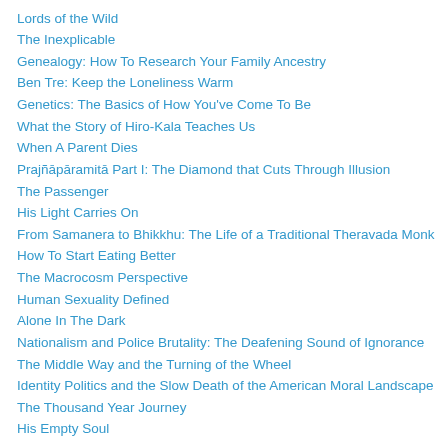Lords of the Wild
The Inexplicable
Genealogy: How To Research Your Family Ancestry
Ben Tre: Keep the Loneliness Warm
Genetics: The Basics of How You've Come To Be
What the Story of Hiro-Kala Teaches Us
When A Parent Dies
Prajñāpāramitā Part I: The Diamond that Cuts Through Illusion
The Passenger
His Light Carries On
From Samanera to Bhikkhu: The Life of a Traditional Theravada Monk
How To Start Eating Better
The Macrocosm Perspective
Human Sexuality Defined
Alone In The Dark
Nationalism and Police Brutality: The Deafening Sound of Ignorance
The Middle Way and the Turning of the Wheel
Identity Politics and the Slow Death of the American Moral Landscape
The Thousand Year Journey
His Empty Soul